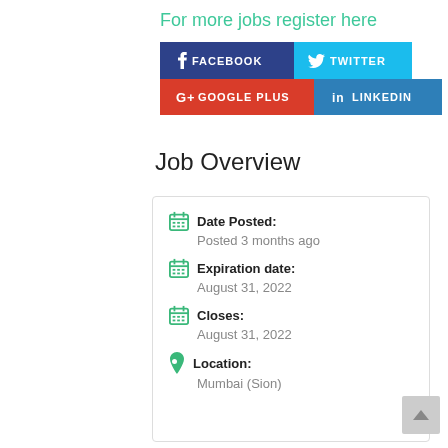For more jobs register here
[Figure (other): Social media share buttons: Facebook (dark blue), Twitter (light blue), Google Plus (red), LinkedIn (blue)]
Job Overview
Date Posted: Posted 3 months ago
Expiration date: August 31, 2022
Closes: August 31, 2022
Location: Mumbai (Sion)